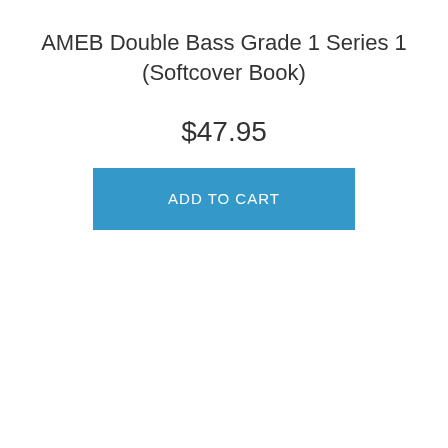AMEB Double Bass Grade 1 Series 1 (Softcover Book)
$47.95
ADD TO CART